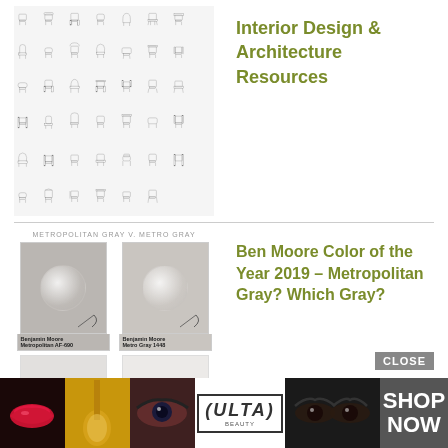[Figure (illustration): Grid of furniture chair sketches/line drawings]
Interior Design & Architecture Resources
[Figure (infographic): Benjamin Moore Metropolitan Gray vs Metro Gray color comparison swatches with water drop images]
Ben Moore Color of the Year 2019 – Metropolitan Gray? Which Gray?
[Figure (photo): Garden/outdoor scene with people]
[Figure (infographic): ULTA beauty advertisement banner with makeup imagery and SHOP NOW button]